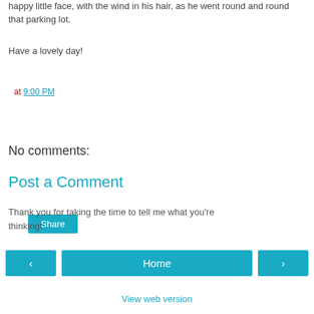happy little face, with the wind in his hair, as he went round and round that parking lot.
Have a lovely day!
at 9:00 PM
Share
No comments:
Post a Comment
Thank you for taking the time to tell me what you're thinking!
‹
Home
›
View web version